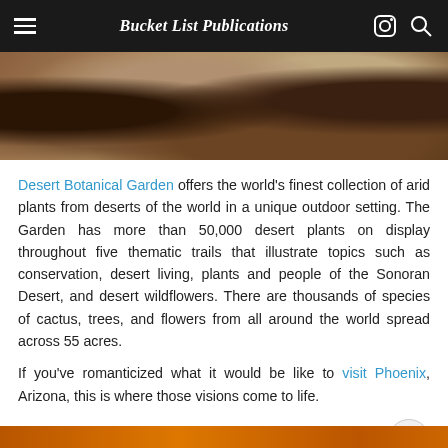Bucket List Publications
[Figure (photo): Desert botanical garden scene with arid landscape, tree trunks, rocks, and dry desert floor]
Desert Botanical Garden offers the world's finest collection of arid plants from deserts of the world in a unique outdoor setting. The Garden has more than 50,000 desert plants on display throughout five thematic trails that illustrate topics such as conservation, desert living, plants and people of the Sonoran Desert, and desert wildflowers. There are thousands of species of cactus, trees, and flowers from all around the world spread across 55 acres.
If you've romanticized what it would be like to visit Phoenix, Arizona, this is where those visions come to life.
LEGOLAND Discovery Center Arizona